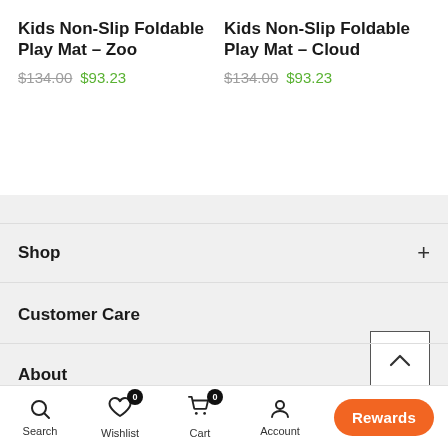Kids Non-Slip Foldable Play Mat - Zoo $134.00 $93.23
Kids Non-Slip Foldable Play Mat - Cloud $134.00 $93.23
Shop
Customer Care
About
Search | Wishlist 0 | Cart 0 | Account | Shop | Rewards